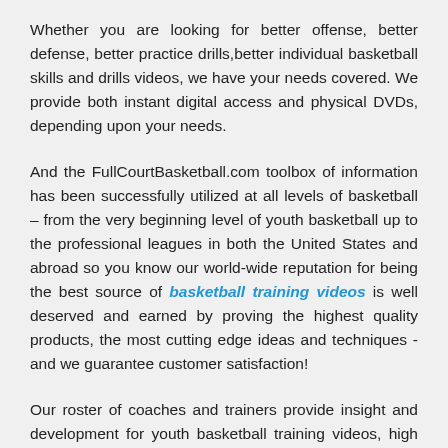Whether you are looking for better offense, better defense, better practice drills,better individual basketball skills and drills videos, we have your needs covered. We provide both instant digital access and physical DVDs, depending upon your needs.
And the FullCourtBasketball.com toolbox of information has been successfully utilized at all levels of basketball – from the very beginning level of youth basketball up to the professional leagues in both the United States and abroad so you know our world-wide reputation for being the best source of basketball training videos is well deserved and earned by proving the highest quality products, the most cutting edge ideas and techniques - and we guarantee customer satisfaction!
Our roster of coaches and trainers provide insight and development for youth basketball training videos, high school basketball, college basketball at the Division 1, Division 2, Division 3 and NAIA levels, and professional basketball